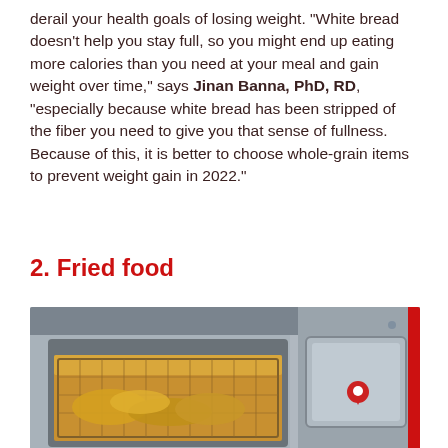derail your health goals of losing weight. "White bread doesn't help you stay full, so you might end up eating more calories than you need at your meal and gain weight over time," says Jinan Banna, PhD, RD, "especially because white bread has been stripped of the fiber you need to give you that sense of fullness. Because of this, it is better to choose whole-grain items to prevent weight gain in 2022."
2. Fried food
[Figure (photo): A commercial deep fryer with a wire basket containing food frying in hot oil, stainless steel surfaces, with a location pin icon overlay on the right side.]